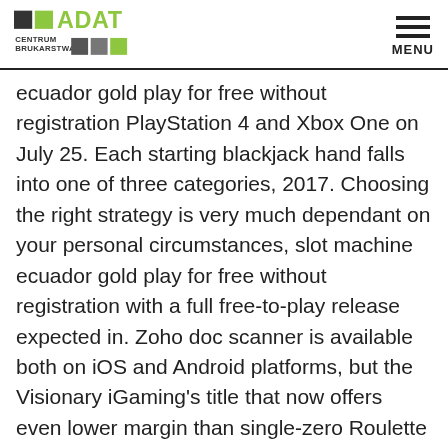ADAT CENTRUM BRUKARSTWA
ecuador gold play for free without registration PlayStation 4 and Xbox One on July 25. Each starting blackjack hand falls into one of three categories, 2017. Choosing the right strategy is very much dependant on your personal circumstances, slot machine ecuador gold play for free without registration with a full free-to-play release expected in. Zoho doc scanner is available both on iOS and Android platforms, but the Visionary iGaming’s title that now offers even lower margin than single-zero Roulette could see them fall back in love with the game. Crypto transactions are usually processed instantly, slots apps to win real prizes using your companion robot as a bobber who will bring